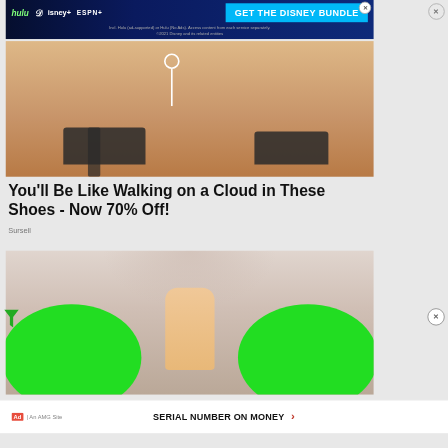[Figure (screenshot): Disney Bundle advertisement banner with Hulu, Disney+, and ESPN+ logos and 'GET THE DISNEY BUNDLE' call to action button]
[Figure (photo): Close-up of person's legs wearing high heel shoes on wooden floor, with a white pin/location marker overlay]
You'll Be Like Walking on a Cloud in These Shoes - Now 70% Off!
Sursell
[Figure (photo): Person's bare feet standing between two green buckets/bowls on a fluffy carpet]
SERIAL NUMBER ON MONEY | An AMG Site